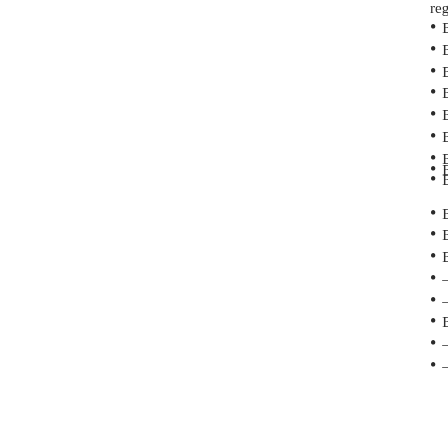regular __
B26.When
B27.A sud
B28.When
B29.A fros
B30.A fros
B31.A peri
B32.A peri
B33a.The f
B33b.Talki “The pond
B34.When
B35.Ice th
B36.Patter
–B37.Long
–B38.Whe
B39.A ver
–B40.A se
–B41.Whe “It’s ____
<< back to top
Topogra